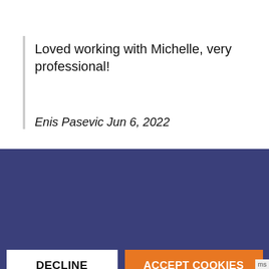Loved working with Michelle, very professional!
Enis Pasevic Jun 6, 2022
This website uses cookies to provide an exceptional user experience. Cookies enable you to enjoy certain features and allow us to understand how our site is being used. By continuing to use our site, you consent to our use of cookies.
Read more
DECLINE
ACCEPT COOKIES